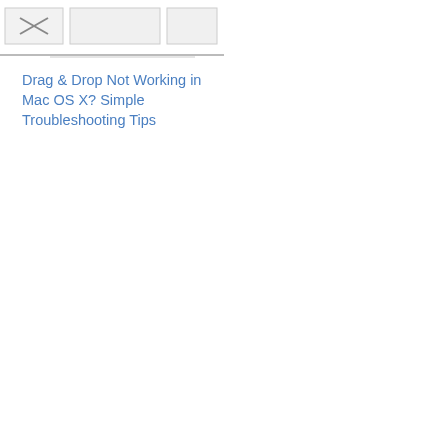[Figure (screenshot): Partial screenshot showing a browser toolbar or navigation thumbnails with an X/close button and two rectangular placeholder boxes, with a horizontal divider line below.]
Drag & Drop Not Working in Mac OS X? Simple Troubleshooting Tips
[Figure (infographic): Social sharing bar with five buttons: Share (Facebook, blue), Tweet (Twitter, blue), Save (Pinterest, red), Mail (blue), and SMS (blue).]